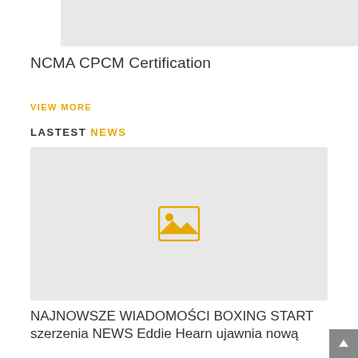[Figure (photo): Top image placeholder with gray background]
NCMA CPCM Certification
VIEW MORE
LASTEST NEWS
[Figure (photo): News image placeholder with gray background and yellow image icon]
NAJNOWSZE WIADOMOŚCI BOXING START szerzenia NEWS Eddie Hearn ujawnia nową